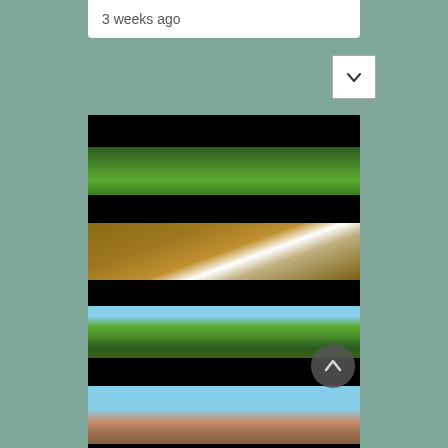3 weeks ago
[Figure (screenshot): A dropdown/chevron button (white box with down arrow) in the teal-green UI]
[Figure (photo): A scrollable photo feed showing alternating black bars and photo strips: green tree canopy from below, interior cabin shot with window light glare, trees and roofline from below, a person outdoors under blue sky. A circular back-to-top button (dark grey with up chevron) overlays the lower right.]